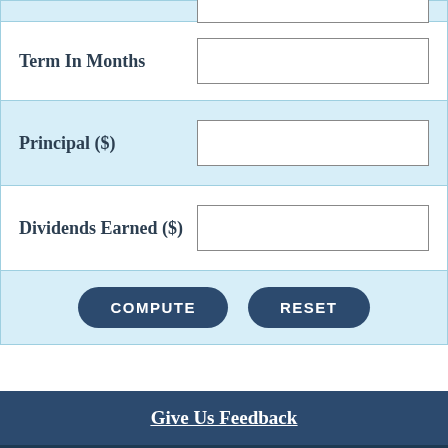| Term In Months |  |
| Principal ($) |  |
| Dividends Earned ($) |  |
| COMPUTE | RESET |  |
Give Us Feedback
BECOME A MEMBER
APPLY FOR A LOAN